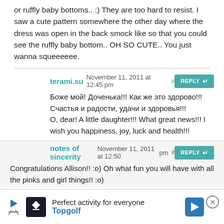or ruffly baby bottoms.. :) They are too hard to resist. I saw a cute pattern somewhere the other day where the dress was open in the back smock like so that you could see the ruffly baby bottom.. OH SO CUTE.. You just wanna squeeeeee.
terami.su November 11, 2011 at 12:45 pm # REPLY
Боже мой! Доченька!!! Как же это здорово!!! Счастья и радости, удачи и здоровья!!! O, dear! A little daughter!!! What great news!!! I wish you happiness, joy, luck and health!!!
notes of sincerity November 11, 2011 at 12:50 pm # REPLY
Congratulations Allison!! :o) Oh what fun you will have with all the pinks and girl things!! :o)
[Figure (infographic): Advertisement banner for Topgolf: 'Perfect activity for everyone' with Topgolf logo, play button, navigation arrow icon, and close button]